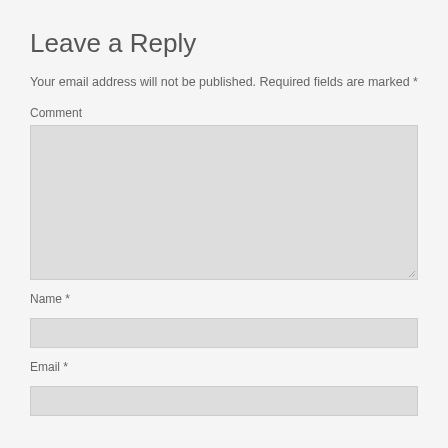Leave a Reply
Your email address will not be published. Required fields are marked *
Comment
[Figure (screenshot): A large comment textarea input box with a resize handle in the bottom right corner, gray background]
Name *
[Figure (screenshot): A single-line text input box for Name, gray background]
Email *
[Figure (screenshot): A single-line text input box for Email, gray background]